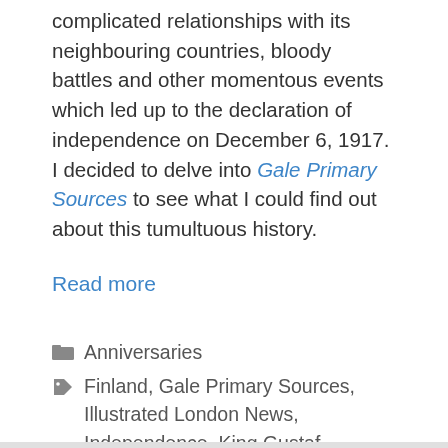complicated relationships with its neighbouring countries, bloody battles and other momentous events which led up to the declaration of independence on December 6, 1917. I decided to delve into Gale Primary Sources to see what I could find out about this tumultuous history.
Read more
Anniversaries
Finland, Gale Primary Sources, Illustrated London News, Independence, King Gustaf, Nineteenth Century Collections Online, Sveaborg